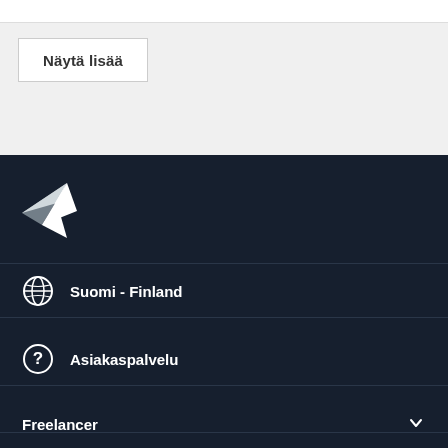Näytä lisää
[Figure (logo): Freelancer.com bird/paper-plane logo in white on dark background]
Suomi - Finland
Asiakaspalvelu
Freelancer
Tietoa